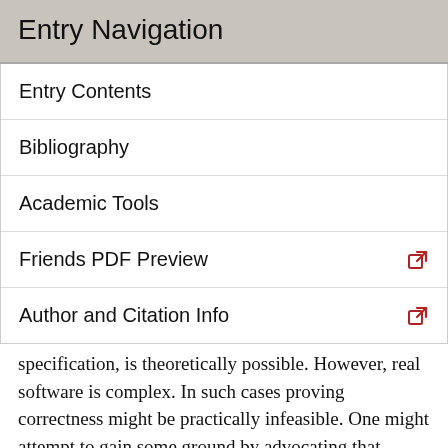Entry Navigation
Entry Contents
Bibliography
Academic Tools
Friends PDF Preview
Author and Citation Info
specification, is theoretically possible. However, real software is complex. In such cases proving correctness might be practically infeasible. One might attempt to gain some ground by advocating that classical correctness proofs should be carried out by a theorem prover, or at least one should be employed somewhere in the process. However, the latter must itself be proven correct. While this may reduce the correctness problem to that of a single program, it still means that we are left with the correctness problem for a large program. Moreover, in itself this does not completely solve the problem. For both